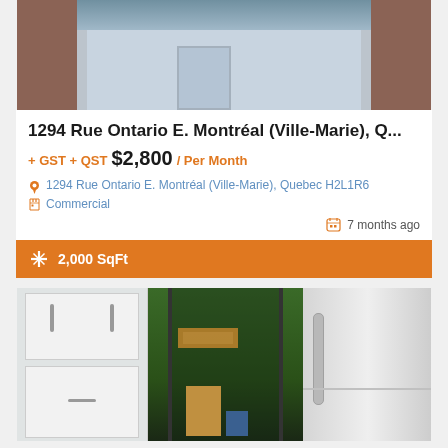[Figure (photo): Exterior storefront photo of commercial property on Rue Ontario E., Montreal]
1294 Rue Ontario E. Montréal (Ville-Marie), Q...
+ GST + QST $2,800 / Per Month
1294 Rue Ontario E. Montréal (Ville-Marie), Quebec H2L1R6
Commercial
7 months ago
2,000 SqFt
[Figure (photo): Interior/storefront photo showing cabinets, entrance door with green interior, and refrigerator]